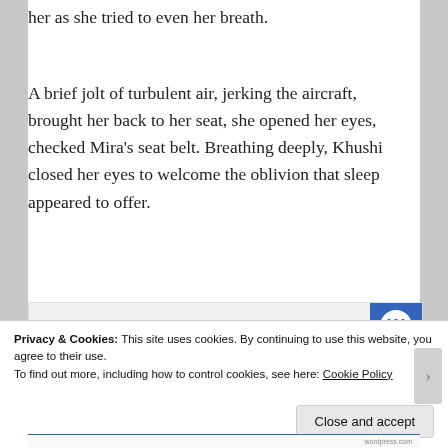her as she tried to even her breath.
A brief jolt of turbulent air, jerking the aircraft, brought her back to her seat, she opened her eyes, checked Mira's seat belt. Breathing deeply, Khushi closed her eyes to welcome the oblivion that sleep appeared to offer.
[Figure (screenshot): GET THE APP banner with WordPress logo icon in blue circle]
Privacy & Cookies: This site uses cookies. By continuing to use this website, you agree to their use.
To find out more, including how to control cookies, see here: Cookie Policy
Close and accept